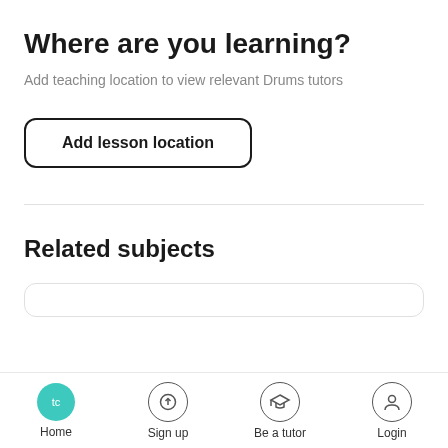Where are you learning?
Add teaching location to view relevant Drums tutors
Add lesson location
Related subjects
Home  Sign up  Be a tutor  Login